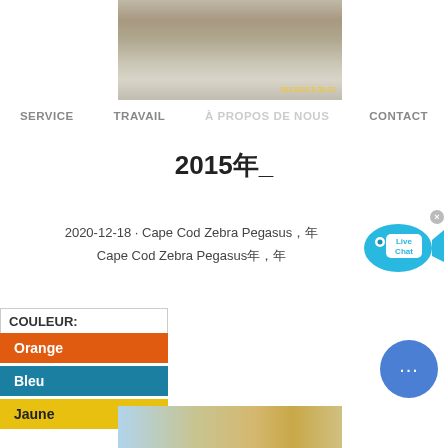[Figure (photo): Construction site photo with timestamp 2012/02/18 08:23]
SERVICE   TRAVAIL   À PROPOS DE NOUS   CONTACT
2015年_
2020-12-18 · Cape Cod Zebra Pegasus，年 Cape Cod Zebra Pegasus年，年
[Figure (illustration): Live Chat bubble icon with close button]
COULEUR:
Orange
Bleu
Jaune
[Figure (illustration): Blue circular chat bubble button with ellipsis]
[Figure (photo): Bottom construction/material photo strip]